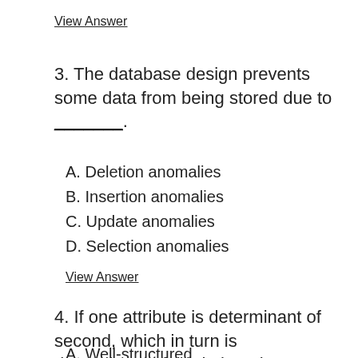View Answer
3. The database design prevents some data from being stored due to _______.
A. Deletion anomalies
B. Insertion anomalies
C. Update anomalies
D. Selection anomalies
View Answer
4. If one attribute is determinant of second, which in turn is determinant of third, then the relation cannot be:
A. Well-structured